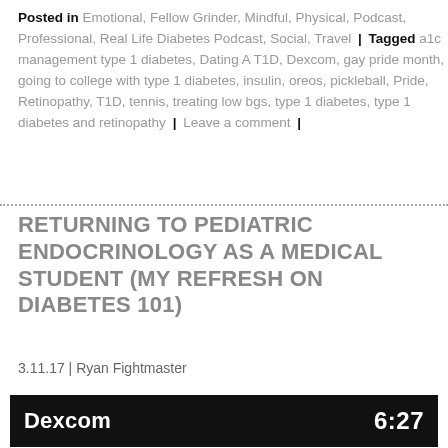Posted in Emotional, Fellow Grinder, Mindful, Physical, Podcast, Professional, Real Life Diabetes Podcast, Social, Travel | Tagged a1c management type 1 diabetes, Dating A T1D, Dexcom, gay pride month, going to college with type 1 diabetes, insulin, oreos, pickleball, Pride, Retinopathy, T1D, tennis, treating low bgs, type 1 diabetes, type 1 diabetes and retinopathy | Leave a comment |
RETURNING TO PEDIATRIC ENDOCRINOLOGY AS A MEDICAL STUDENT (MY REFRESH ON DIABETES 101)
3.11.17 | Ryan Fightmaster
[Figure (screenshot): Video thumbnail with black background showing 'Dexcom' label on the left and '6:27' duration on the right in white text]